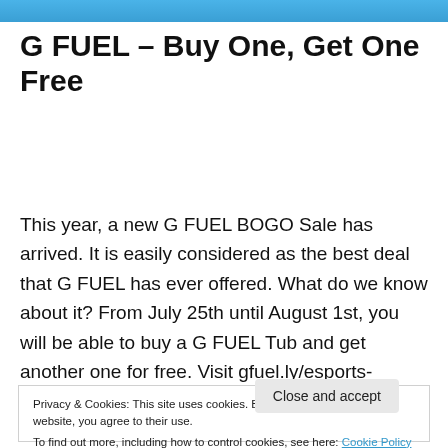G FUEL – Buy One, Get One Free
This year, a new G FUEL BOGO Sale has arrived. It is easily considered as the best deal that G FUEL has ever offered. What do we know about it? From July 25th until August 1st, you will be able to buy a G FUEL Tub and get another one for free. Visit gfuel.ly/esports-mobile-bogo to select two … Continue reading →
Privacy & Cookies: This site uses cookies. By continuing to use this website, you agree to their use.
To find out more, including how to control cookies, see here: Cookie Policy
Close and accept